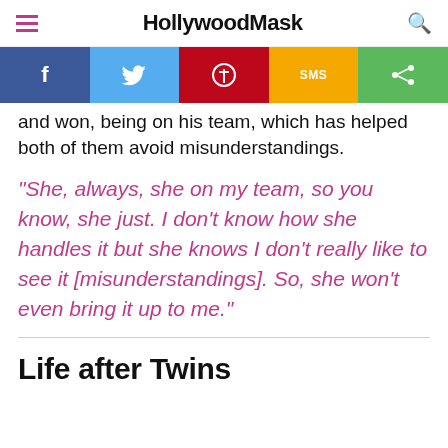HollywoodMask
[Figure (other): Social sharing bar with buttons for Facebook, Twitter, Pinterest, SMS, and Share]
and won, being on his team, which has helped both of them avoid misunderstandings.
"She, always, she on my team, so you know, she just. I don't know how she handles it but she knows I don't really like to see it [misunderstandings]. So, she won't even bring it up to me."
Life after Twins